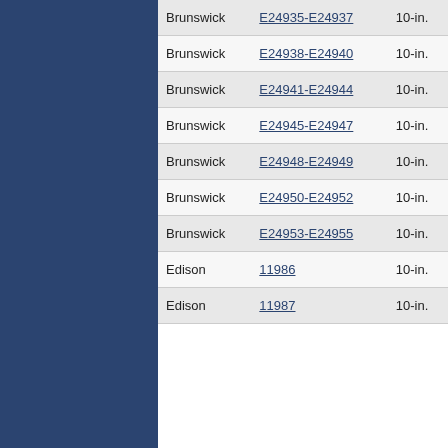| Location | Record Range | Size |
| --- | --- | --- |
| Brunswick | E24935-E24937 | 10-in. |
| Brunswick | E24938-E24940 | 10-in. |
| Brunswick | E24941-E24944 | 10-in. |
| Brunswick | E24945-E24947 | 10-in. |
| Brunswick | E24948-E24949 | 10-in. |
| Brunswick | E24950-E24952 | 10-in. |
| Brunswick | E24953-E24955 | 10-in. |
| Edison | 11986 | 10-in. |
| Edison | 11987 | 10-in. |